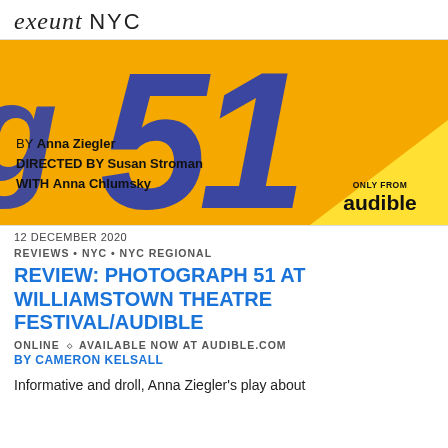exeunt NYC
[Figure (illustration): Yellow/orange promotional image for 'Photograph 51' showing large blue italic numbers '51' on an orange background, with credits: 'BY Anna Ziegler / DIRECTED BY Susan Stroman / WITH Anna Chlumsky' and an Audible 'Only From audible' yellow badge in the bottom right corner.]
12 DECEMBER 2020
REVIEWS • NYC • NYC REGIONAL
REVIEW: PHOTOGRAPH 51 AT WILLIAMSTOWN THEATRE FESTIVAL/AUDIBLE
ONLINE ◇ AVAILABLE NOW AT AUDIBLE.COM
BY CAMERON KELSALL
Informative and droll, Anna Ziegler's play about